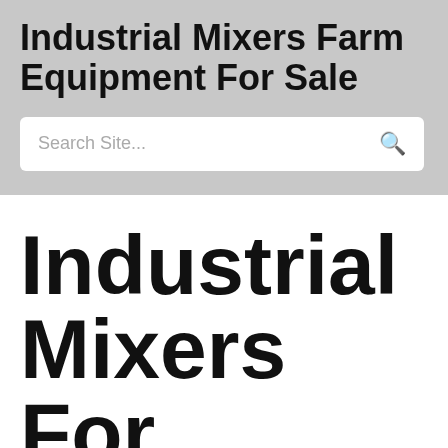Industrial Mixers Farm Equipment For Sale
Search Site...
Industrial Mixers For